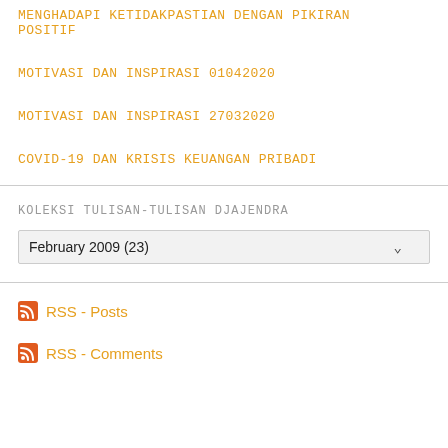MENGHADAPI KETIDAKPASTIAN DENGAN PIKIRAN POSITIF
MOTIVASI DAN INSPIRASI 01042020
MOTIVASI DAN INSPIRASI 27032020
COVID-19 DAN KRISIS KEUANGAN PRIBADI
KOLEKSI TULISAN-TULISAN DJAJENDRA
February 2009  (23)
RSS - Posts
RSS - Comments